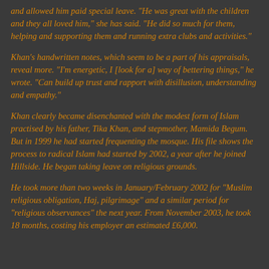and allowed him paid special leave. "He was great with the children and they all loved him," she has said. "He did so much for them, helping and supporting them and running extra clubs and activities."
Khan's handwritten notes, which seem to be a part of his appraisals, reveal more. "I'm energetic, I [look for a] way of bettering things," he wrote. "Can build up trust and rapport with disillusion, understanding and empathy."
Khan clearly became disenchanted with the modest form of Islam practised by his father, Tika Khan, and stepmother, Mamida Begum. But in 1999 he had started frequenting the mosque. His file shows the process to radical Islam had started by 2002, a year after he joined Hillside. He began taking leave on religious grounds.
He took more than two weeks in January/February 2002 for "Muslim religious obligation, Haj, pilgrimage" and a similar period for "religious observances" the next year. From November 2003, he took 18 months, costing his employer an estimated £6,000.